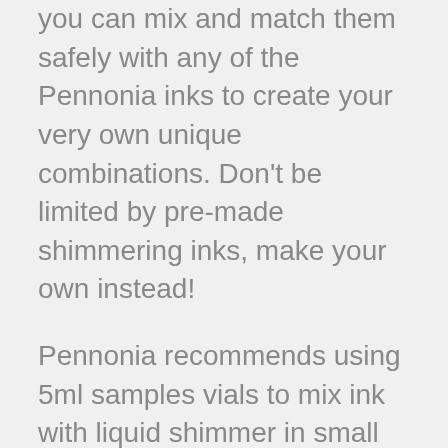you can mix and match them safely with any of the Pennonia inks to create your very own unique combinations. Don't be limited by pre-made shimmering inks, make your own instead!
Pennonia recommends using 5ml samples vials to mix ink with liquid shimmer in small batches. Please stir the liquid shimmer before using. Since it is a pigment, the shimmer powder settles to the bottom of the container. Use the included mini-pipette to add 1-2 drops of liquid shimmer to 5ml of ink.
Please note that shimmer powder is hard to clean from a fountain pen. Pennonia has tested each powder in several pens using M nibs and has not noticed any clogging following their suggested guidelines. Mixing an excessive amount of shimmer into inks might clog pen feeds. They suggest that you only use liquid shimmer at your